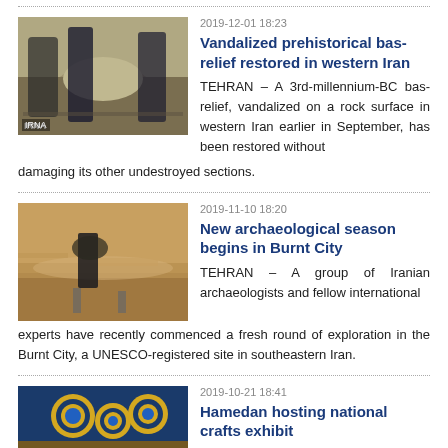2019-12-01 18:23
Vandalized prehistorical bas-relief restored in western Iran
TEHRAN – A 3rd-millennium-BC bas-relief, vandalized on a rock surface in western Iran earlier in September, has been restored without damaging its other undestroyed sections.
2019-11-10 18:20
New archaeological season begins in Burnt City
TEHRAN – A group of Iranian archaeologists and fellow international experts have recently commenced a fresh round of exploration in the Burnt City, a UNESCO-registered site in southeastern Iran.
2019-10-21 18:41
Hamedan hosting national crafts exhibit